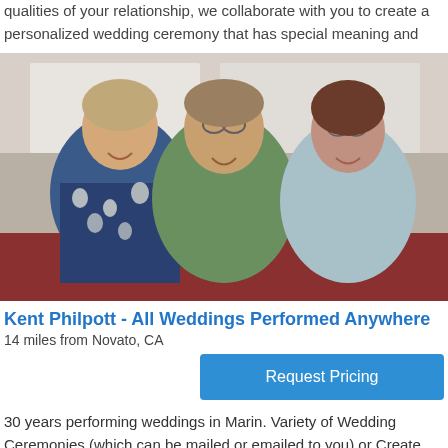qualities of your relationship, we collaborate with you to create a personalized wedding ceremony that has special meaning and
[Figure (photo): Photo of three people sitting together and smiling: a man in a floral shirt on the left, an older man with glasses in the center, and a woman with short brown hair and glasses on the right.]
Kent Philpott - All Weddings Performed Anywhere
14 miles from Novato, CA
Request Pricing
30 years performing weddings in Marin. Variety of Wedding Ceremonies (which can be mailed or emailed to you) or Create your own Ceremony. Costs: In Marin--$200 and with rehearsal